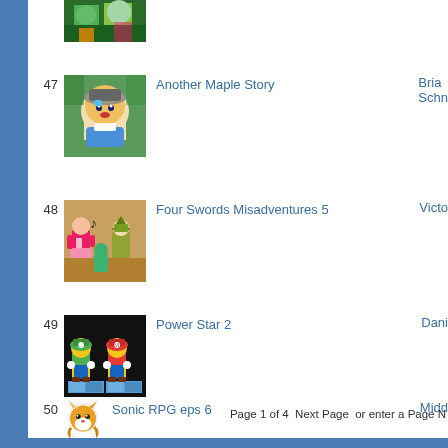[Figure (screenshot): Partial thumbnail of a game/animation entry at top of page (entry 46)]
47 Another Maple Story — Bria Schn
[Figure (screenshot): Thumbnail for Another Maple Story showing anime-style character]
48 Four Swords Misadventures 5 — Victo
[Figure (screenshot): Thumbnail for Four Swords Misadventures 5 showing Zelda characters]
49 Power Star 2 — Dani
[Figure (screenshot): Thumbnail for Power Star 2 showing Mario characters]
50 Sonic RPG eps 6 — Midd
[Figure (screenshot): Thumbnail for Sonic RPG eps 6 showing Tails character]
Page 1 of 4 Next Page or enter a Page N